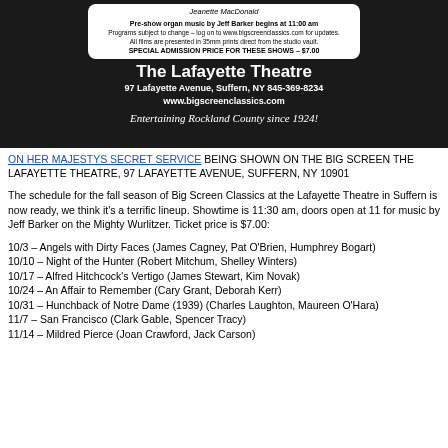[Figure (photo): The Lafayette Theatre advertisement banner on dark background, showing pre-show information in a white rounded rectangle, theatre name in large bold white text, address in white bold text, website, and italic slogan 'Entertaining Rockland County since 1924!']
ON HER MAJESTYS SECRET SERVICE BEING SHOWN ON THE BIG SCREEN THE LAFAYETTE THEATRE, 97 LAFAYETTE AVENUE, SUFFERN, NY 10901
The schedule for the fall season of Big Screen Classics at the Lafayette Theatre in Suffern is now ready, we think it's a terrific lineup. Showtime is 11:30 am, doors open at 11 for music by Jeff Barker on the Mighty Wurlitzer. Ticket price is $7.00:
10/3 – Angels with Dirty Faces (James Cagney, Pat O'Brien, Humphrey Bogart)
10/10 – Night of the Hunter (Robert Mitchum, Shelley Winters)
10/17 – Alfred Hitchcock's Vertigo (James Stewart, Kim Novak)
10/24 – An Affair to Remember (Cary Grant, Deborah Kerr)
10/31 – Hunchback of Notre Dame (1939) (Charles Laughton, Maureen O'Hara)
11/7 – San Francisco (Clark Gable, Spencer Tracy)
11/14 – Mildred Pierce (Joan Crawford, Jack Carson)